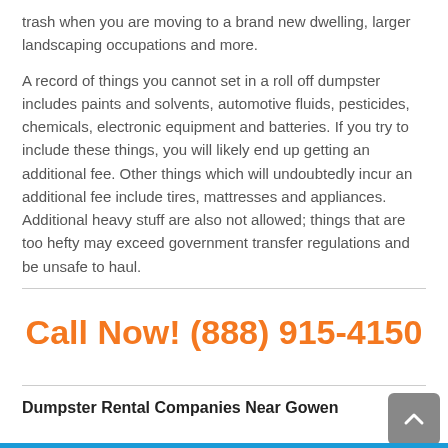trash when you are moving to a brand new dwelling, larger landscaping occupations and more.
A record of things you cannot set in a roll off dumpster includes paints and solvents, automotive fluids, pesticides, chemicals, electronic equipment and batteries. If you try to include these things, you will likely end up getting an additional fee. Other things which will undoubtedly incur an additional fee include tires, mattresses and appliances. Additional heavy stuff are also not allowed; things that are too hefty may exceed government transfer regulations and be unsafe to haul.
Call Now! (888) 915-4150
Dumpster Rental Companies Near Gowen